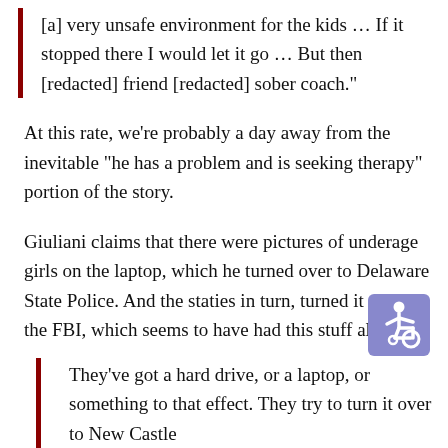[a] very unsafe environment for the kids … If it stopped there I would let it go … But then [redacted] friend [redacted] sober coach."
At this rate, we're probably a day away from the inevitable "he has a problem and is seeking therapy" portion of the story.
Giuliani claims that there were pictures of underage girls on the laptop, which he turned over to Delaware State Police. And the staties in turn, turned it over to the FBI, which seems to have had this stuff all along.
[Figure (illustration): Accessibility icon — white figure in wheelchair on blue-purple rounded square background]
They've got a hard drive, or a laptop, or something to that effect. They try to turn it over to New Castle